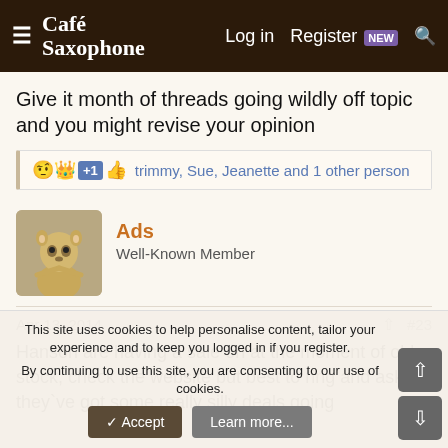Café Saxophone — Log in  Register NEW  Search
Give it month of threads going wildly off topic and you might revise your opinion
trimmy, Sue, Jeanette and 1 other person
Ads
Well-Known Member
Apr 13, 2014  #23
Hanson are having a sale on at the moment of old stock, check the website but best to ring and ask, they`ve got some really silly deals going
This site uses cookies to help personalise content, tailor your experience and to keep you logged in if you register.
By continuing to use this site, you are consenting to our use of cookies.